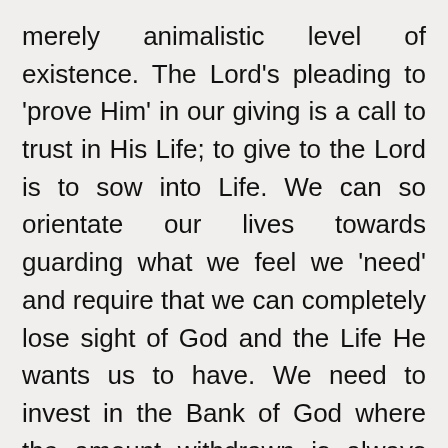merely animalistic level of existence. The Lord's pleading to 'prove Him' in our giving is a call to trust in His Life; to give to the Lord is to sow into Life. We can so orientate our lives towards guarding what we feel we 'need' and require that we can completely lose sight of God and the Life He wants us to have. We need to invest in the Bank of God where the amount withdrawn is always greater than that which we paid in.
And notice how in verse 11 the opposite of life is crushed, namely the devourer, or barronness. This will be rebuked because